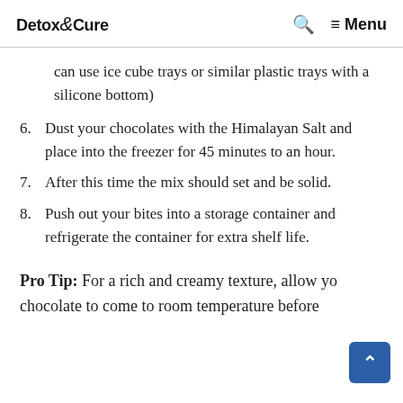Detox & Cure  🔍  ≡ Menu
can use ice cube trays or similar plastic trays with a silicone bottom)
6. Dust your chocolates with the Himalayan Salt and place into the freezer for 45 minutes to an hour.
7. After this time the mix should set and be solid.
8. Push out your bites into a storage container and refrigerate the container for extra shelf life.
Pro Tip: For a rich and creamy texture, allow your chocolate to come to room temperature before